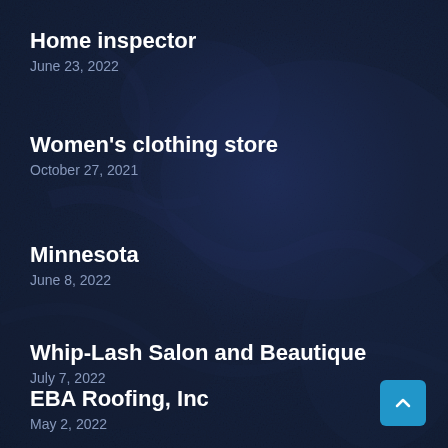Home inspector
June 23, 2022
Women's clothing store
October 27, 2021
Minnesota
June 8, 2022
Whip-Lash Salon and Beautique
July 7, 2022
EBA Roofing, Inc
May 2, 2022